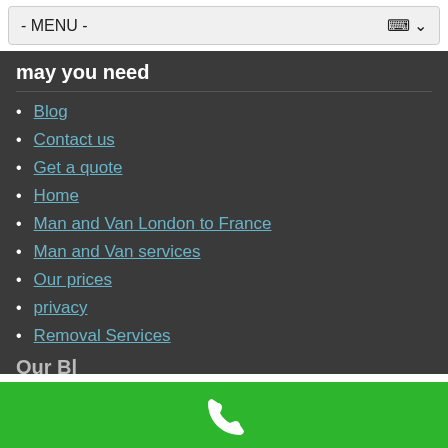- MENU -
may you need
Blog
Contact us
Get a quote
Home
Man and Van London to France
Man and Van services
Our prices
privacy
Removal Services
This website uses cookies to improve your experience. We'll only use your data for purposes you consent to.
[Figure (other): Green call bar with white phone icon]